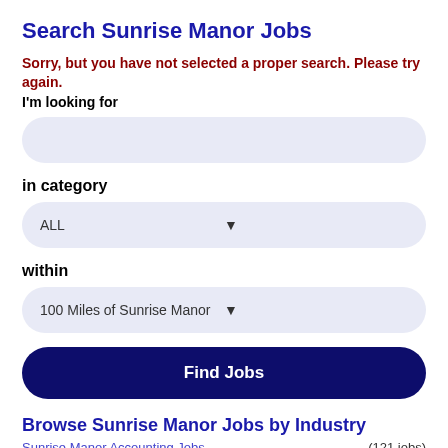Search Sunrise Manor Jobs
Sorry, but you have not selected a proper search. Please try again.
I'm looking for
[Figure (other): Empty search input field with rounded corners and light blue background]
in category
[Figure (other): Dropdown selector showing ALL with down arrow, light blue rounded background]
within
[Figure (other): Dropdown selector showing 100 Miles of Sunrise Manor with down arrow, light blue rounded background]
[Figure (other): Find Jobs button, dark navy blue with white bold text, rounded corners]
Browse Sunrise Manor Jobs by Industry
Sunrise Manor Accounting Jobs   (121 jobs)